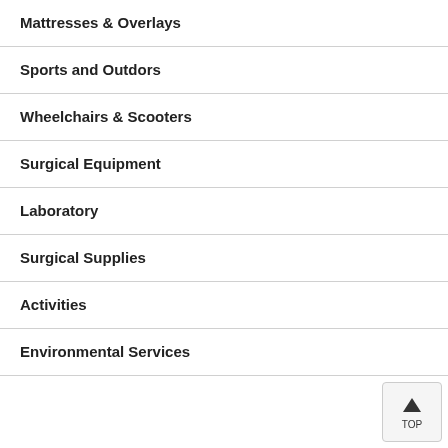Mattresses & Overlays
Sports and Outdors
Wheelchairs & Scooters
Surgical Equipment
Laboratory
Surgical Supplies
Activities
Environmental Services